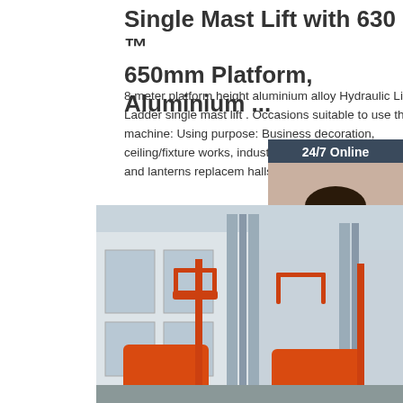Single Mast Lift with 630 ™ 650mm Platform, Aluminium ...
8 meter platform height aluminium alloy Hydraulic Lift Ladder single mast lift . Occasions suitable to use this machine: Using purpose: Business decoration, ceiling/fixture works, industrial fa maintenance, lamps and lanterns replaceme halls, maintenance of ...
Get Price
[Figure (photo): 24/7 Online chat widget with woman wearing headset, and QUOTATION button]
[Figure (photo): Red single mast hydraulic lift platforms parked outside an industrial building]